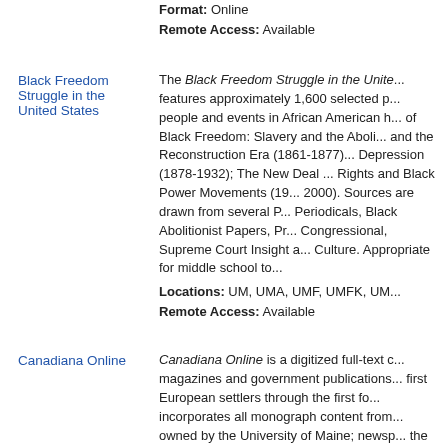Format: Online
Remote Access: Available
Black Freedom Struggle in the United States
The Black Freedom Struggle in the United States features approximately 1,600 selected primary sources on people and events in African American history in five eras of Black Freedom: Slavery and the Abolition Movement and the Reconstruction Era (1861-1877); The Gilded Age and Depression (1878-1932); The New Deal and WWII; Civil Rights and Black Power Movements (1945-1975); 1975-2000. Sources are drawn from several ProQuest files: Periodicals, Black Abolitionist Papers, ProQuest Congressional, Supreme Court Insight and American Periodicals Culture. Appropriate for middle school to university.
Locations: UM, UMA, UMF, UMFK, UM...
Remote Access: Available
Canadiana Online
Canadiana Online is a digitized full-text collection of magazines and government publications spanning from the first European settlers through the first four decades. It incorporates all monograph content from canadiana.org owned by the University of Maine; newspapers are in the process of being added. Canadiana Online includes publications, and monographs never pub...
Coverage: 1600s-1940s
Locations: UM, UMA, UMF, UMFK, UM...
Format: Online
Remote Access: Available